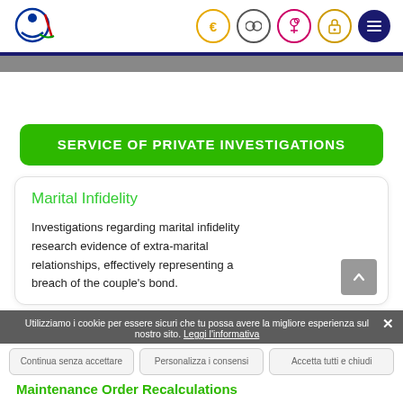[Figure (logo): Website logo with stylized figure and navigation icons including euro sign, binoculars, microscope, lock, and hamburger menu]
SERVICE OF PRIVATE INVESTIGATIONS
Marital Infidelity
Investigations regarding marital infidelity research evidence of extra-marital relationships, effectively representing a breach of the couple's bond.
Utilizziamo i cookie per essere sicuri che tu possa avere la migliore esperienza sul nostro sito. Leggi l'informativa
Continua senza accettare
Personalizza i consensi
Accetta tutti e chiudi
Maintenance Order Recalculations